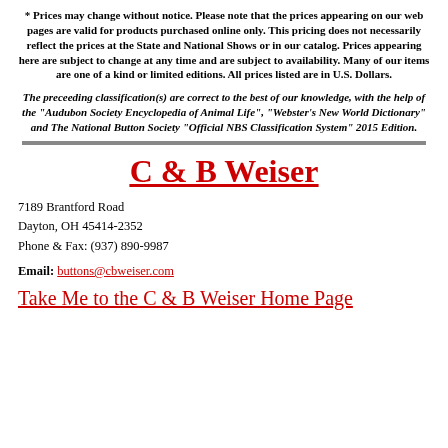* Prices may change without notice. Please note that the prices appearing on our web pages are valid for products purchased online only. This pricing does not necessarily reflect the prices at the State and National Shows or in our catalog. Prices appearing here are subject to change at any time and are subject to availability. Many of our items are one of a kind or limited editions. All prices listed are in U.S. Dollars.
The preceeding classification(s) are correct to the best of our knowledge, with the help of the "Audubon Society Encyclopedia of Animal Life", "Webster's New World Dictionary" and The National Button Society "Official NBS Classification System" 2015 Edition.
C & B Weiser
7189 Brantford Road
Dayton, OH 45414-2352
Phone & Fax: (937) 890-9987
Email: buttons@cbweiser.com
Take Me to the C & B Weiser Home Page